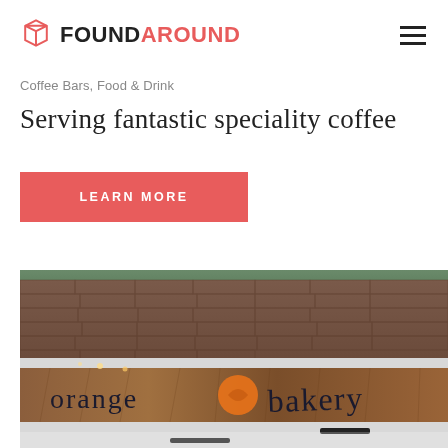FOUNDAROUND
Coffee Bars, Food & Drink
Serving fantastic speciality coffee
LEARN MORE
[Figure (photo): Exterior photo of Orange Bakery storefront showing a rustic wooden sign with 'orange bakery' text and an orange circular logo, with brick building facade above]